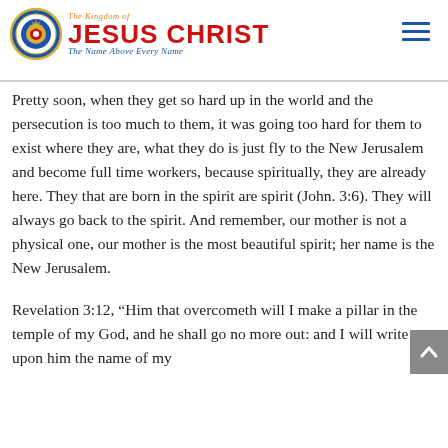The Kingdom of JESUS CHRIST – The Name Above Every Name
Pretty soon, when they get so hard up in the world and the persecution is too much to them, it was going too hard for them to exist where they are, what they do is just fly to the New Jerusalem and become full time workers, because spiritually, they are already here. They that are born in the spirit are spirit (John. 3:6). They will always go back to the spirit. And remember, our mother is not a physical one, our mother is the most beautiful spirit; her name is the New Jerusalem.
Revelation 3:12, “Him that overcometh will I make a pillar in the temple of my God, and he shall go no more out: and I will write upon him the name of my